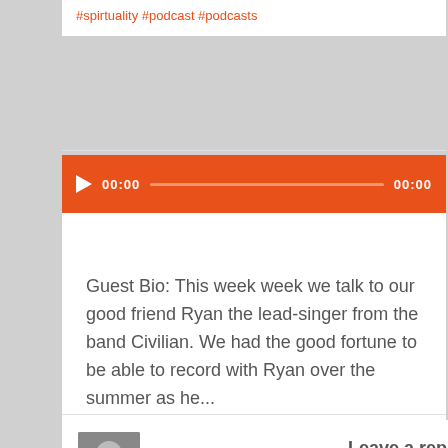#spirtuality #podcast #podcasts
[Figure (other): Audio player bar with play button, time display 00:00, progress track, and end time 00:00 on orange background]
Guest Bio: This week week we talk to our good friend Ryan the lead-singer from the band Civilian. We had the good fortune to be able to record with Ryan over the summer as he...
Continue reading →
John Williamson
Leave a reply